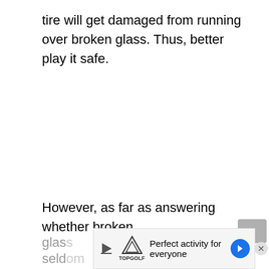tire will get damaged from running over broken glass. Thus, better play it safe.
However, as far as answering whether broken
glas...
seld...om
[Figure (other): Advertisement overlay for Topgolf: 'Perfect activity for everyone' with Topgolf logo, play button icon, blue directional arrow button, and close (X) button]